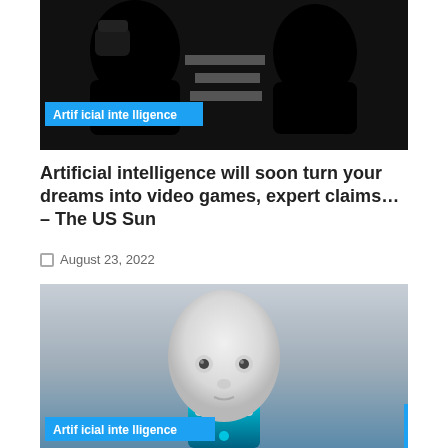[Figure (illustration): Black silhouette illustration of two human head profiles facing each other with horizontal bar stripes between them, on dark background. Blue 'Artificial intelligence' tag overlay in bottom-left of image.]
Artificial intelligence will soon turn your dreams into video games, expert claims… – The US Sun
August 23, 2022
[Figure (photo): Photo of a white humanoid robot/AI figure with smooth features, glowing blue teal chest area, on a grey background. Blue 'Artificial intelligence' tag overlay in bottom-left of image.]